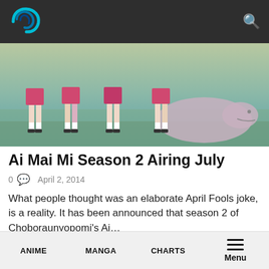Navigation bar with logo and search icon
[Figure (illustration): Anime-style illustration showing legs of schoolgirls in pink skirts and a large creature/slug on a teal/green ground background]
Ai Mai Mi Season 2 Airing July
0  April 2, 2014
What people thought was an elaborate April Fools joke, is a reality. It has been announced that season 2 of Choboraunyopomi's Ai…
2014
Anime
Japanese News
Manga
News
Other
Weird stuff
ANIME   MANGA   CHARTS   Menu